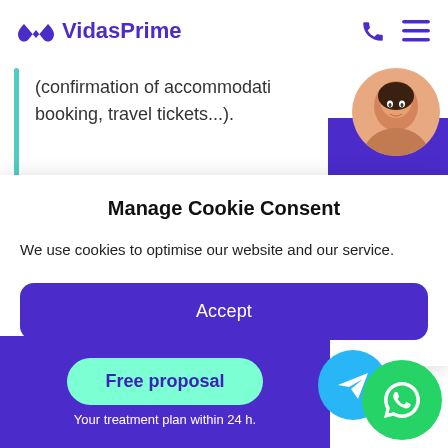VidasPrime
(confirmation of accommodation booking, travel tickets...).
Manage Cookie Consent
We use cookies to optimise our website and our service.
Accept
travel with it without problems.
When you come to Spain, be aware
Free proposal
Your treatment plan within 24 h.